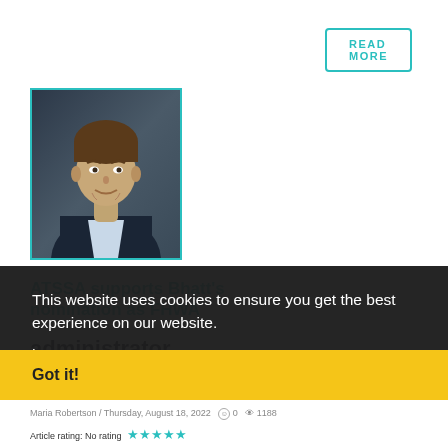READ MORE
[Figure (photo): Professional headshot of a man in a dark suit and light blue shirt against a dark background, shown from chest up]
ATSSA supports Bhatt's nomination as FHWA administrator
statement notes history of expertise and passion for transportation safety
This website uses cookies to ensure you get the best experience on our website.
Learn more
Got it!
Maria Robertson / Thursday, August 18, 2022  0  1188
Article rating: No rating